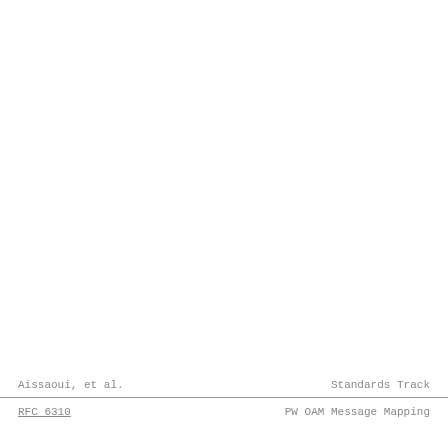Aissaoui, et al.                    Standards Track
RFC 6310                         PW OAM Message Mapping